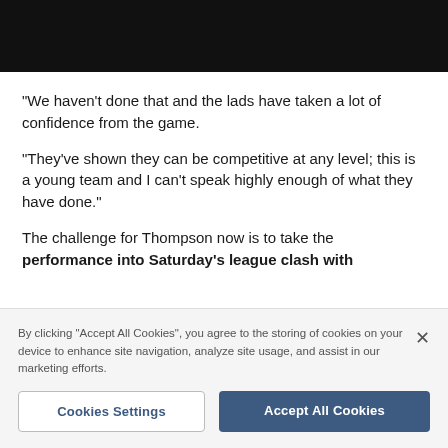[Figure (photo): Black header image/banner at top of page]
“We haven’t done that and the lads have taken a lot of confidence from the game.
“They’ve shown they can be competitive at any level; this is a young team and I can’t speak highly enough of what they have done.”
The challenge for Thompson now is to take the performance into Saturday’s league clash with
By clicking “Accept All Cookies”, you agree to the storing of cookies on your device to enhance site navigation, analyze site usage, and assist in our marketing efforts.
Cookies Settings
Accept All Cookies